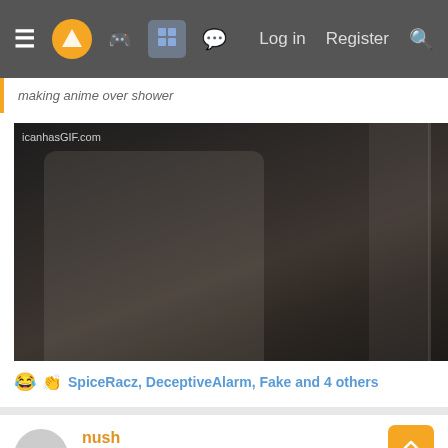Log in  Register
making anime over shower
[Figure (photo): GIF from icanhasGIF.com showing a person in a beanie hat with chains and a watch, appearing to be clapping or rubbing hands together, standing near a window or door]
SpiceRacz, DeceptiveAlarm, Fake and 4 others
nush
Gold Member